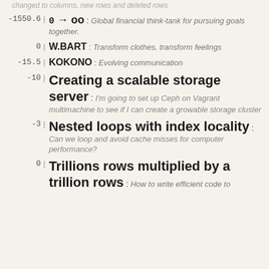changed to columns, new rows and deleted rows
-1550.6 | 0 → oo : Global financial think-tank for pursuing goals together.
0 | W.BART : Transform clothes, transform feelings
-15.5 | KOKONO : Evolving communication
-10 | Creating a scalable storage server : I'm going to set up Ceph on Vagrant multimachine to see if I can create a growable storage cluster
-3 | Nested loops with index locality : Can we loop and avoid cache misses for computer performance?
0 | Trillions rows multiplied by a trillion rows : How to write efficient code to